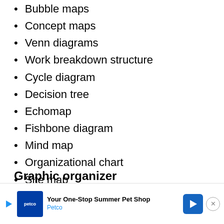Bubble maps
Concept maps
Venn diagrams
Work breakdown structure
Cycle diagram
Decision tree
Echomap
Fishbone diagram
Mind map
Organizational chart
Site map
Strategy map and SWOT analysis
Graphic organizer
Charts in this category include